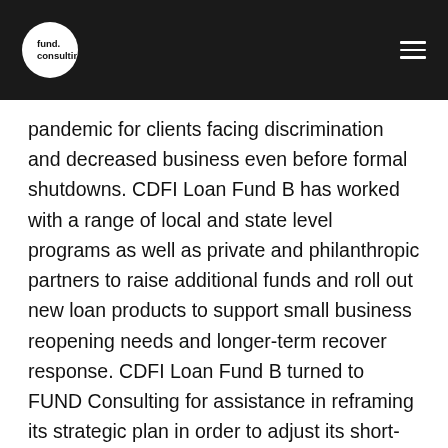fund consulting
pandemic for clients facing discrimination and decreased business even before formal shutdowns. CDFI Loan Fund B has worked with a range of local and state level programs as well as private and philanthropic partners to raise additional funds and roll out new loan products to support small business reopening needs and longer-term recover response. CDFI Loan Fund B turned to FUND Consulting for assistance in reframing its strategic plan in order to adjust its short-term priorities while maintaining focus on longer-term goals.
CDFI Loan Funds are now well positioned to ramp up activities even more with the expectation of additional